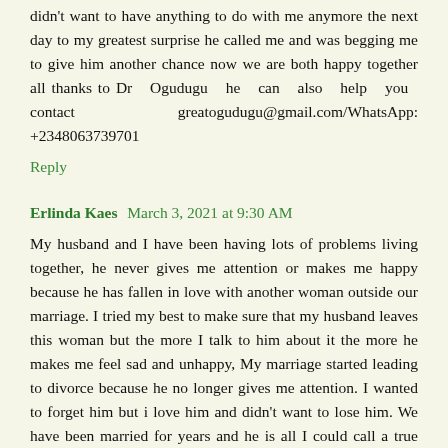didn't want to have anything to do with me anymore the next day to my greatest surprise he called me and was begging me to give him another chance now we are both happy together all thanks to Dr Ogudugu he can also help you contact greatogudugu@gmail.com/WhatsApp: +2348063739701
Reply
Erlinda Kaes  March 3, 2021 at 9:30 AM
My husband and I have been having lots of problems living together, he never gives me attention or makes me happy because he has fallen in love with another woman outside our marriage. I tried my best to make sure that my husband leaves this woman but the more I talk to him about it the more he makes me feel sad and unhappy, My marriage started leading to divorce because he no longer gives me attention. I wanted to forget him but i love him and didn't want to lose him. We have been married for years and he is all I could call a true best friend and best in all, the man that handles my problems perfectly, the man that makes sacrifices for ,my happiness. I wanted him back in my life badly and I was so confused. My Friends told me to buy books about